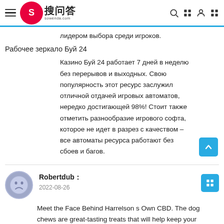搜问答 sowenda.com
лидером выбора среди игроков.
Рабочее зеркало Буй 24
Казино Буй 24 работает 7 дней в неделю без перерывов и выходных. Свою популярность этот ресурс заслужил отличной отдачей игровых автоматов, нередко достигающей 98%! Стоит также отметить разнообразие игрового софта, которое не идет в разрез с качеством – все автоматы ресурса работают без сбоев и багов.
Robertdub : 2022-08-26
Meet the Face Behind Harrelson s Own CBD. The dog chews are great-tasting treats that will help keep your canine happy and calm, and the gummies will do the same for you. Why Buy King Kalm CBD for Dogs In Colorado Springs. [url=https://buycannabisseeds.org/marijuana